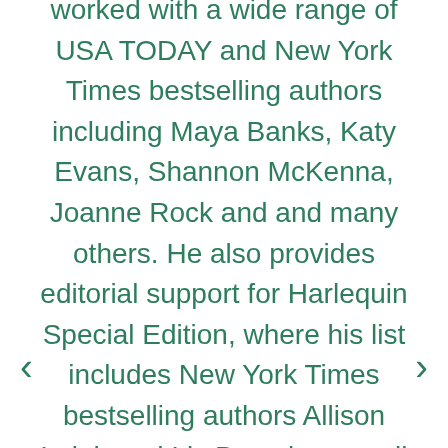worked with a wide range of USA TODAY and New York Times bestselling authors including Maya Banks, Katy Evans, Shannon McKenna, Joanne Rock and and many others. He also provides editorial support for Harlequin Special Edition, where his list includes New York Times bestselling authors Allison Leigh and Liz Bevarly, as well as Kathy Douglass. Deeply committed to putting